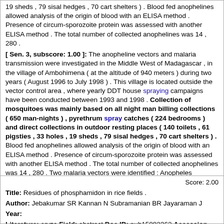19 sheds , 79 sisal hedges , 70 cart shelters ) . Blood fed anophelines allowed analysis of the origin of blood with an ELISA method . Presence of circum-sporozoite protein was assessed with another ELISA method . The total number of collected anophelines was 14 , 280 . [ Sen. 3, subscore: 1.00 ]: The anopheline vectors and malaria transmission were investigated in the Middle West of Madagascar , in the village of Ambohimena ( at the altitude of 940 meters ) during two years ( August 1996 to July 1998 ) . This village is located outside the vector control area , where yearly DDT house spraying campaigns have been conducted between 1993 and 1998 . Collection of mosquitoes was mainly based on all night man billing collections ( 650 man-nights ) , pyrethrum spray catches ( 224 bedrooms ) and direct collections in outdoor resting places ( 140 toilets , 61 pigsties , 33 holes , 19 sheds , 79 sisal hedges , 70 cart shelters ) . Blood fed anophelines allowed analysis of the origin of blood with an ELISA method . Presence of circum-sporozoite protein was assessed with another ELISA method . The total number of collected anophelines was 14 , 280 . Two malaria vectors were identified : Anopheles funestus Giles , 1900 and An . arabiensis Patton , 1902 .
Score: 2.00
Title: Residues of phosphamidon in rice fields .
Author: Jebakumar SR Kannan N Subramanian BR Jayaraman J
Year:
Literature: oryza Field: abstract Doc ID: pub15092362 Accession (PMID): 15092362
Matching Sentences: [ Sen. 1, subscore: 1.00 ]: Thirty-day-old seedlings of rice plants ( IR-20 variety ) from the nursery were transplanted into experimental